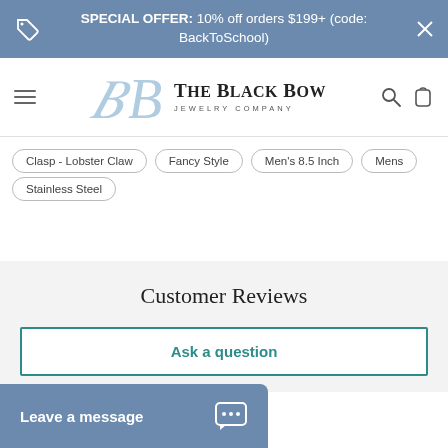SPECIAL OFFER: 10% off orders $199+ (code: BackToSchool)
[Figure (logo): The Black Bow Jewelry Company logo with stylized B monogram]
Clasp - Lobster Claw
Fancy Style
Men's 8.5 Inch
Mens
Stainless Steel
Customer Reviews
Ask a question
Leave a message